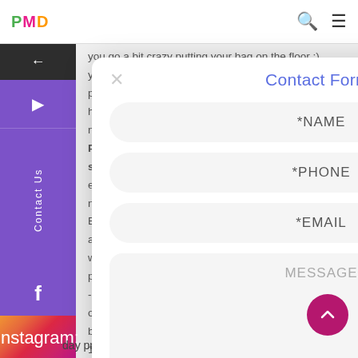[Figure (screenshot): PMD logo in the top navigation bar with colored letters P (green), M (pink), D (orange)]
you go a bit crazy putting your bag on the floor :), y policies & provided:), - hing else nt be P11-EN015 sh Fortune e Plated next items Elastic Cord. and our wo water photography - our bit set 100% of the big
[Figure (screenshot): Contact Form modal overlay with fields: *NAME, *PHONE, *EMAIL, MESSAGE]
day professionally transferred using vinyl. 2019